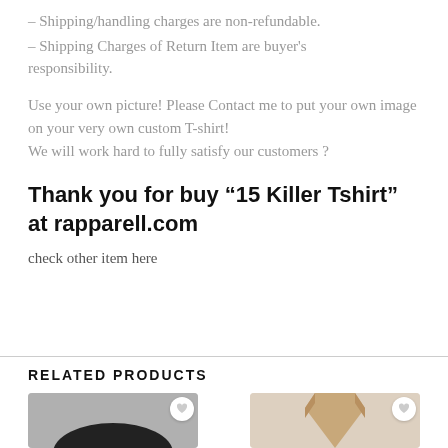– Shipping/handling charges are non-refundable.
– Shipping Charges of Return Item are buyer's responsibility.
Use your own picture! Please Contact me to put your own image on your very own custom T-shirt! We will work hard to fully satisfy our customers ?
Thank you for buy “15 Killer Tshirt” at rapparell.com
check other item here
RELATED PRODUCTS
[Figure (photo): Two product thumbnail images partially visible at bottom of page]